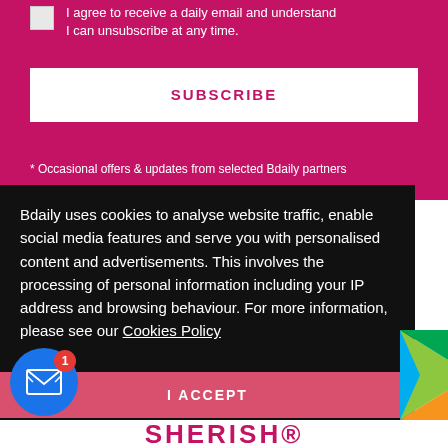I agree to receive a daily email and understand I can unsubscribe at any time.
SUBSCRIBE
* Occasional offers & updates from selected Bdaily partners
Bdaily uses cookies to analyse website traffic, enable social media features and serve you with personalised content and advertisements. This involves the processing of personal information including your IP address and browsing behaviour. For more information, please see our Cookies Policy
I ACCEPT